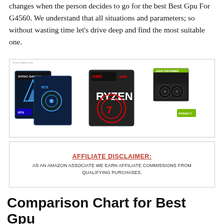changes when the person decides to go for the best Best Gpu For G4560. We understand that all situations and parameters; so without wasting time let's drive deep and find the most suitable one.
[Figure (photo): Three product images side by side: Zotac Gaming RTX GPU box, AMD Ryzen 7 CPU box, and ASUS TUF Gaming GTX GPU with fan visible]
AFFILIATE DISCLAIMER:
AS AN AMAZON ASSOCIATE WE EARN AFFILIATE COMMISSIONS FROM QUALIFYING PURCHASES.
Comparison Chart for Best Gpu